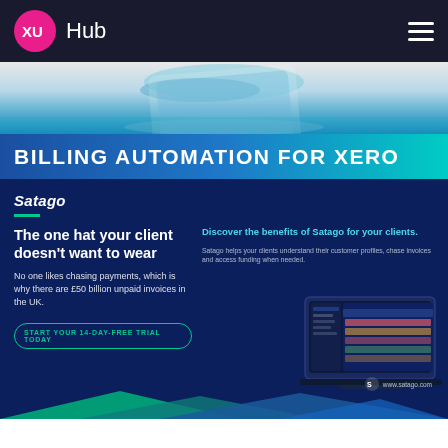XU Hub
[Figure (illustration): Decorative banner graphic with teal and blue gradient tones and abstract shapes]
BILLING AUTOMATION FOR XERO
Satago
The one hat your client doesn't want to wear
No one likes chasing payments, which is why there are £50 billion unpaid invoices in the UK.
Discover the benefits of Satago for your clients.
Satago helps your clients understand their customer profiles, chase invoices and access funding when needed.
[Figure (screenshot): Laptop showing Satago dashboard interface]
START YOUR 14-DAY-FREE TRIAL TODAY
www.satago.com